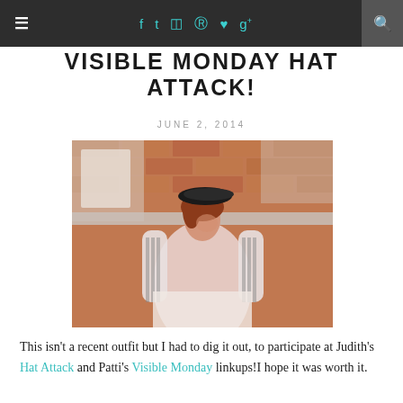≡  f  t  ☷  ℗  ♥  g+  🔍
VISIBLE MONDAY HAT ATTACK!
JUNE 2, 2014
[Figure (photo): Woman wearing a black beret hat, striped long-sleeve shirt under a pink pinafore dress, standing against a brick wall, smiling and posing with hands raised]
This isn't a recent outfit but I had to dig it out, to participate at Judith's Hat Attack and Patti's Visible Monday linkups!I hope it was worth it.